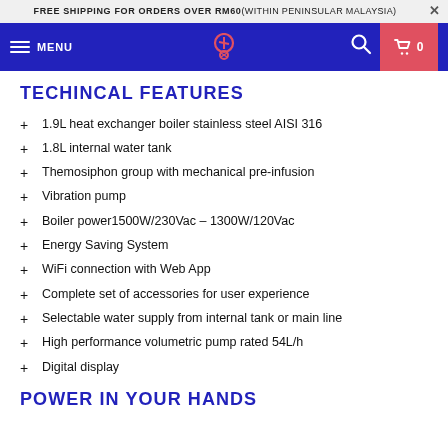FREE SHIPPING FOR ORDERS OVER RM60 (WITHIN PENINSULAR MALAYSIA)
MENU navigation bar
TECHINCAL FEATURES
1.9L heat exchanger boiler stainless steel AISI 316
1.8L internal water tank
Themosiphon group with mechanical pre-infusion
Vibration pump
Boiler power1500W/230Vac – 1300W/120Vac
Energy Saving System
WiFi connection with Web App
Complete set of accessories for user experience
Selectable water supply from internal tank or main line
High performance volumetric pump rated 54L/h
Digital display
POWER IN YOUR HANDS